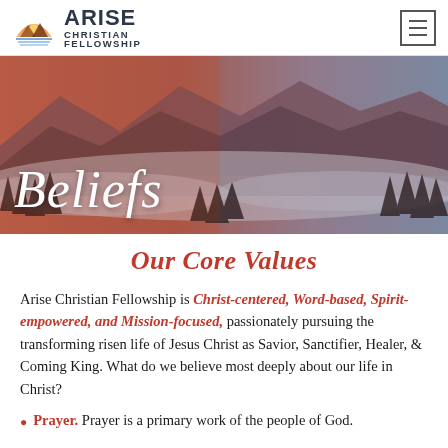ARISE CHRISTIAN FELLOWSHIP
[Figure (photo): Hero banner with mountain landscape at sunset/dusk with fog and pine trees, with cursive text 'Beliefs' overlaid in white]
Our Core Values
Arise Christian Fellowship is Christ-centered, Word-based, Spirit-empowered, and Mission-focused, passionately pursuing the transforming risen life of Jesus Christ as Savior, Sanctifier, Healer, & Coming King. What do we believe most deeply about our life in Christ?
Prayer. Prayer is a primary work of the people of God.